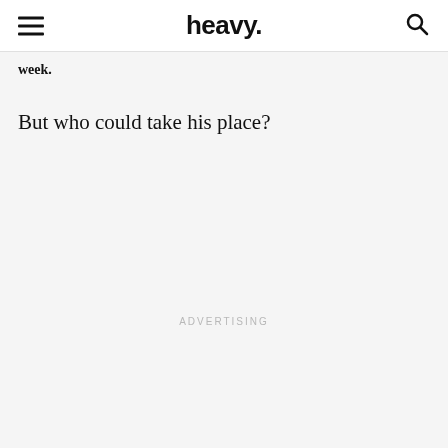heavy.
week.
But who could take his place?
ADVERTISING